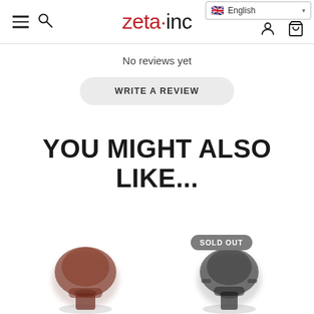zeta·inc — navigation header with menu, search, language selector (English), user icon, cart icon
No reviews yet
WRITE A REVIEW
YOU MIGHT ALSO LIKE...
[Figure (photo): Blurred dark red/brown executive office chair thumbnail]
[Figure (photo): Blurred dark office chair thumbnail with SOLD OUT badge]